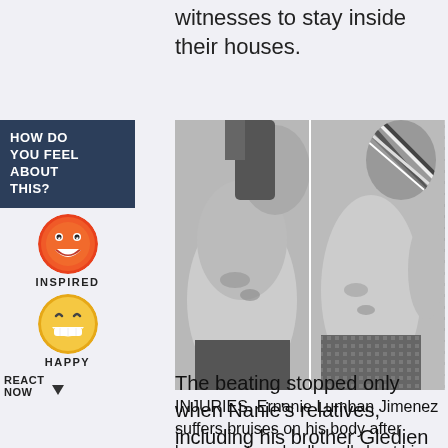witnesses to stay inside their houses.
[Figure (photo): Black and white photographs showing bruises on a man's torso — two side-by-side images of injury marks on Ernanie Lumban Jimenez's body after allegedly being beaten by barangay tanods.]
INJURIES. Ernanie Lumban Jimenez suffers bruises on his body after barangay tanods allegedly beat him up. Photo courtesy of the victim's cousin John Alexis Jimenez
The beating stopped only when Nanie's relatives, including his brother Gledien and